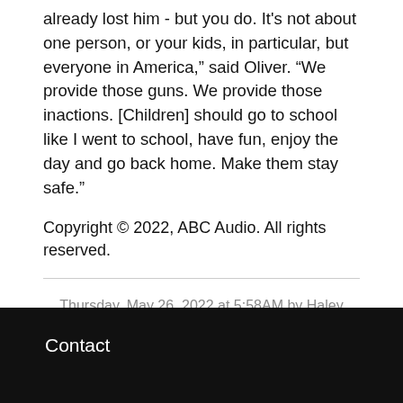already lost him - but you do. It's not about one person, or your kids, in particular, but everyone in America," said Oliver. "We provide those guns. We provide those inactions. [Children] should go to school like I went to school, have fun, enjoy the day and go back home. Make them stay safe."
Copyright © 2022, ABC Audio. All rights reserved.
Thursday, May 26, 2022 at 5:58AM by Haley Yamada, ABC News   Permalink
Contact